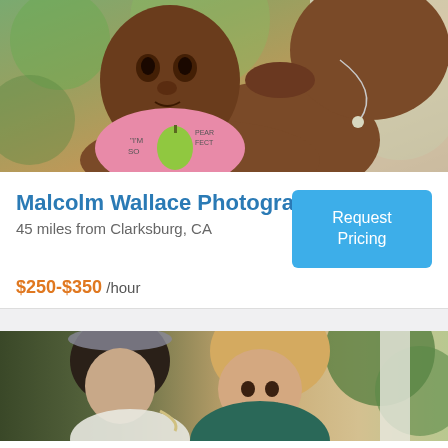[Figure (photo): A mother holding and kissing a baby wearing a pink onesie that says 'I'm so Pear-fect' with a pear graphic. The mother is wearing a silver necklace with a pearl pendant. Outdoor setting with blurred green background.]
Malcolm Wallace Photography
45 miles from Clarksburg, CA
Request Pricing
$250-$350 /hour
[Figure (photo): Two women outdoors, one wearing a sparkly headpiece and the other smiling with blonde hair. Outdoor setting with green foliage in background.]